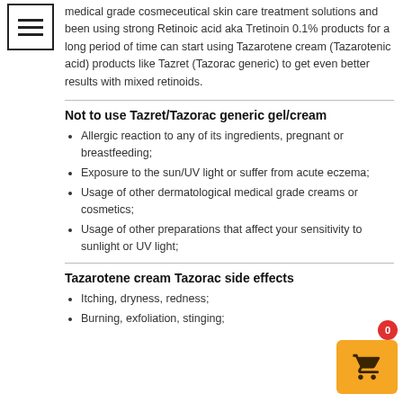medical grade cosmeceutical skin care treatment solutions and been using strong Retinoic acid aka Tretinoin 0.1% products for a long period of time can start using Tazarotene cream (Tazarotenic acid) products like Tazret (Tazorac generic) to get even better results with mixed retinoids.
Not to use Tazret/Tazorac generic gel/cream
Allergic reaction to any of its ingredients, pregnant or breastfeeding;
Exposure to the sun/UV light or suffer from acute eczema;
Usage of other dermatological medical grade creams or cosmetics;
Usage of other preparations that affect your sensitivity to sunlight or UV light;
Tazarotene cream Tazorac side effects
Itching, dryness, redness;
Burning, exfoliation, stinging;